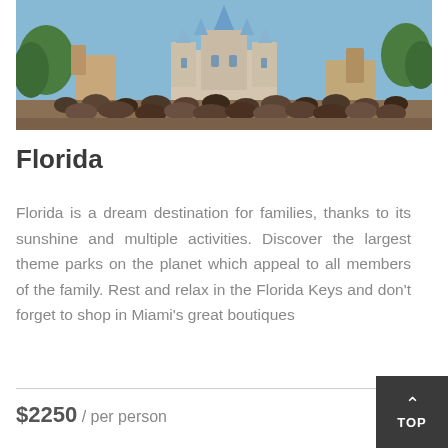[Figure (photo): Aerial photo of a Disney-style castle with large crowds of visitors in front, blue sky with trees in background]
Florida
Florida is a dream destination for families, thanks to its sunshine and multiple activities. Discover the largest theme parks on the planet which appeal to all members of the family. Rest and relax in the Florida Keys and don't forget to shop in Miami's great boutiques
$2250 / per person